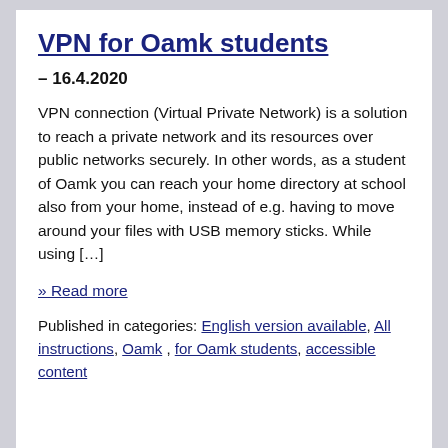VPN for Oamk students
– 16.4.2020
VPN connection (Virtual Private Network) is a solution to reach a private network and its resources over public networks securely. In other words, as a student of Oamk you can reach your home directory at school also from your home, instead of e.g. having to move around your files with USB memory sticks. While using […]
» Read more
Published in categories: English version available, All instructions, Oamk , for Oamk students, accessible content